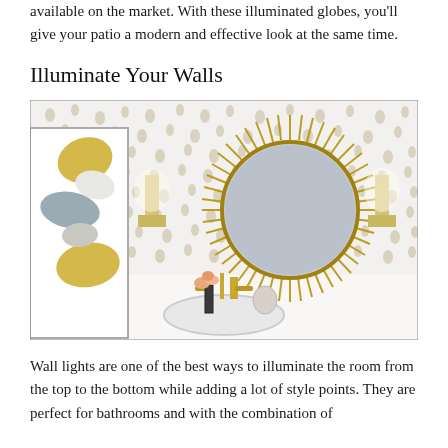available on the market. With these illuminated globes, you'll give your patio a modern and effective look at the same time.
Illuminate Your Walls
[Figure (photo): A stylish bathroom with patterned wallpaper featuring teardrop shapes in beige/tan on white. A sunburst gold mirror hangs above a white sink with gold faucet fixtures. A framed abstract art piece is on the left wall. Two wall sconce lights flank the mirror. A small vase of peach flowers sits on the counter.]
Wall lights are one of the best ways to illuminate the room from the top to the bottom while adding a lot of style points. They are perfect for bathrooms and with the combination of